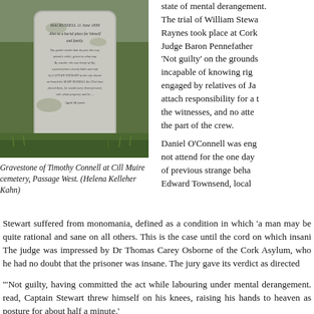[Figure (photo): Photograph of a gravestone in a grassy cemetery. The stone reads: 'MACRUSSELL 11 June 1839, Also as a burial place for himself and family. You gentle reader that do pass this way attend a while, grieve to what may By murder vile was bereft of life, a parted from a lovely babe and wife by CAPTAIN STEWART to the ruly shame on board the MARY RUSSELL the 23rd June forced them, he would carry them forward, sole whom property and he - Aged 34 years']
Gravestone of Timothy Connell at Cill Muire cemetery, Passage West. (Helena Kelleher Kahn)
state of mental derangement. The trial of William Stewart and Raynes took place at Cork, before Judge Baron Pennefather. A verdict 'Not guilty' on the grounds that he was incapable of knowing right from wrong, engaged by relatives of James Raynes, to attach responsibility for a the part of the witnesses, and no attempt on the part of the crew.
Daniel O'Connell was engaged but did not attend for the one day; evidence of previous strange behaviour. Edward Townsend, local
Stewart suffered from monomania, defined as a condition in which 'a man may be quite rational and sane on all others. This is the case until the cord on which insani The judge was impressed by Dr Thomas Carey Osborne of the Cork Asylum, who he had no doubt that the prisoner was insane. The jury gave its verdict as directed
'Not guilty, having committed the act while labouring under mental derangement.' read, Captain Stewart threw himself on his knees, raising his hands to heaven as posture for about half a minute.'
William Stewart was committed to the Asylum for Criminal Lunatics, Dundrum, f